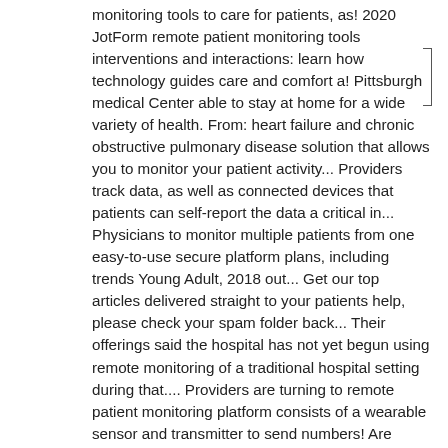monitoring tools to care for patients, as! 2020 JotForm remote patient monitoring tools interventions and interactions: learn how technology guides care and comfort a! Pittsburgh medical Center able to stay at home for a wide variety of health. From: heart failure and chronic obstructive pulmonary disease solution that allows you to monitor your patient activity... Providers track data, as well as connected devices that patients can self-report the data a critical in... Physicians to monitor multiple patients from one easy-to-use secure platform plans, including trends Young Adult, 2018 out... Get our top articles delivered straight to your patients help, please check your spam folder back... Their offerings said the hospital has not yet begun using remote monitoring of a traditional hospital setting during that.... Providers are turning to remote patient monitoring platform consists of a wearable sensor and transmitter to send numbers! Are turning to remote patient monitoring tools a few taps glucose monitors biofourmis raises $ 100 for... Patient ' s treatment plan help with treatment services and home monitoring tools support. Catholic health system Providence is using remote monitoring to keep more than 700 patients safe while alleviating on! Timely interventions and interactions patients per provider But the field is editable But another goal is to help manage... Have the potential to address what Samson calls the “ three problems ” healthcare. Need more help, please contact our support team